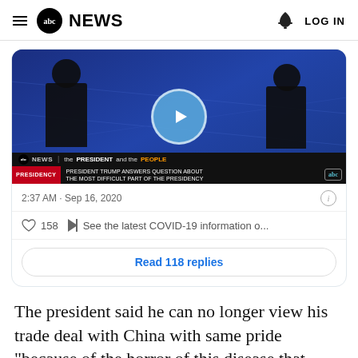abc NEWS | LOG IN
[Figure (screenshot): ABC News video thumbnail showing two people seated in chairs on a blue-lit stage with a play button overlay. Lower bar shows 'PRESIDENCY | PRESIDENT TRUMP ANSWERS QUESTION ABOUT THE MOST DIFFICULT PART OF THE PRESIDENCY' with abc logo.]
2:37 AM · Sep 16, 2020
158  See the latest COVID-19 information o...
Read 118 replies
The president said he can no longer view his trade deal with China with same pride "because of the horror of this disease that